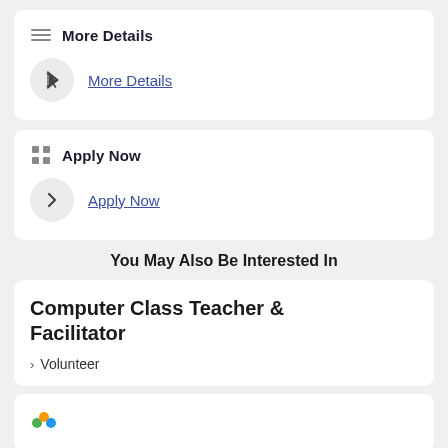More Details
More Details
Apply Now
Apply Now
You May Also Be Interested In
Computer Class Teacher & Facilitator
Volunteer